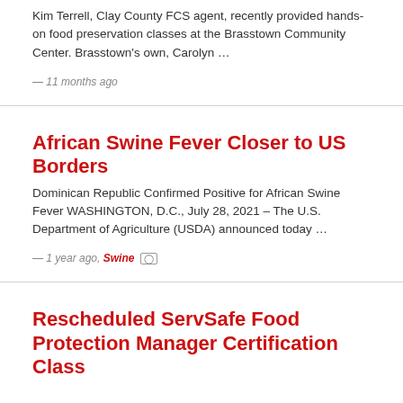Kim Terrell, Clay County FCS agent, recently provided hands-on food preservation classes at the Brasstown Community Center. Brasstown's own, Carolyn …
— 11 months ago
African Swine Fever Closer to US Borders
Dominican Republic Confirmed Positive for African Swine Fever WASHINGTON, D.C., July 28, 2021 – The U.S. Department of Agriculture (USDA) announced today …
— 1 year ago, Swine [0]
Rescheduled ServSafe Food Protection Manager Certification Class